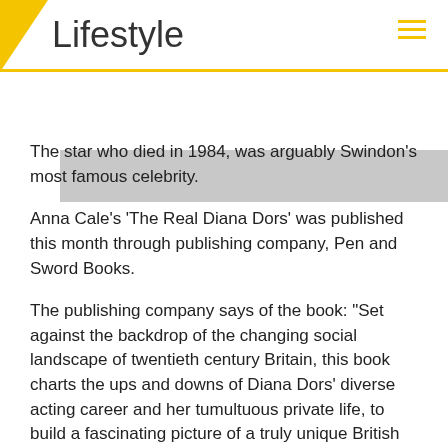Lifestyle
[Figure (photo): Gray image placeholder strip below the header]
The star who died in 1984, was arguably Swindon's most famous celebrity.
Anna Cale's 'The Real Diana Dors' was published this month through publishing company, Pen and Sword Books.
The publishing company says of the book: "Set against the backdrop of the changing social landscape of twentieth century Britain, this book charts the ups and downs of Diana Dors' diverse acting career and her tumultuous private life, to build a fascinating picture of a truly unique British screen icon."
This 200 page, hardback release is said to "...follow Dors' remarkable story, from childhood in suburban Swindon, to acting success as a teenager and finding